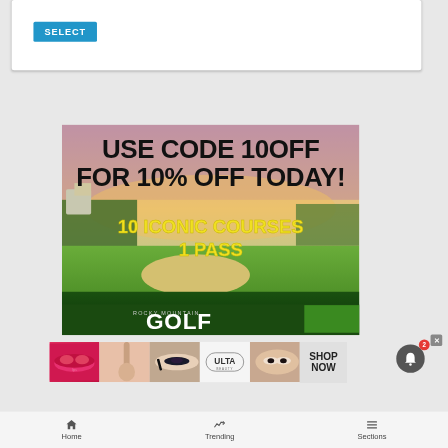[Figure (screenshot): Blue SELECT button on a white card UI element]
[Figure (infographic): Rocky Mountain Golf ad: 'USE CODE 10OFF FOR 10% OFF TODAY! 10 ICONIC COURSES 1 PASS' with golf course imagery]
[Figure (infographic): Ulta beauty advertisement banner with makeup imagery and SHOP NOW button]
Home   Trending   Sections